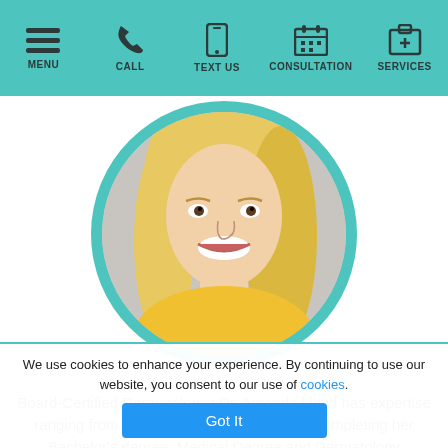MENU | CALL | TEXT US | CONSULTATION | SERVICES
[Figure (photo): Circular profile photo of Dr. Amanda Lloyd, a blonde woman smiling, wearing a yellow top, with a teal border around the circle]
Board-Certified Dermatologist Dr. Amanda Lloyd has expertise ranging from cosmetic to cancerous. After completing her Bachelor's degree, Medical Degree and Dermatology residency, she established the Skin & Vein Institute in Encinitas, CA. She is an authority on cosmetic dermatology and injectables, laser therapies, venous disease treatments and skin cancer surgery with
We use cookies to enhance your experience. By continuing to use our website, you consent to our use of cookies. Got It